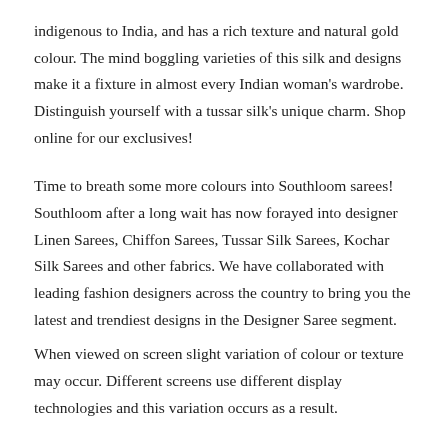indigenous to India, and has a rich texture and natural gold colour. The mind boggling varieties of this silk and designs make it a fixture in almost every Indian woman's wardrobe. Distinguish yourself with a tussar silk's unique charm. Shop online for our exclusives!
Time to breath some more colours into Southloom sarees! Southloom after a long wait has now forayed into designer Linen Sarees, Chiffon Sarees, Tussar Silk Sarees, Kochar Silk Sarees and other fabrics. We have collaborated with leading fashion designers across the country to bring you the latest and trendiest designs in the Designer Saree segment. When viewed on screen slight variation of colour or texture may occur. Different screens use different display technologies and this variation occurs as a result.
Saree Length: 5.5 meters + Blouse Piece